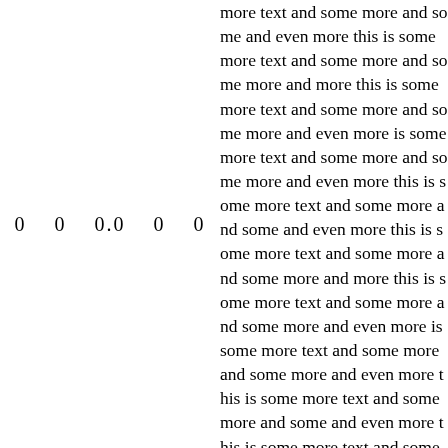0    0    0.0    0    0
more text and some more and some and even more this is some more text and some more and some more and more this is some more text and some more and some more and even more is some more text and some more and some more and even more this is some more text and some more and some and even more this is some more text and some more and some more and more this is some more text and some more and some more and even more is some more text and some more and some more and even more this is some more text and some more and some and even more this is some more text and some more and some more and more this is some more text and some more and some more and even more is some more text and some more and some more and even more this is some more text and some more and some and even more this is some more text and some more and some more and more this is some more text and som